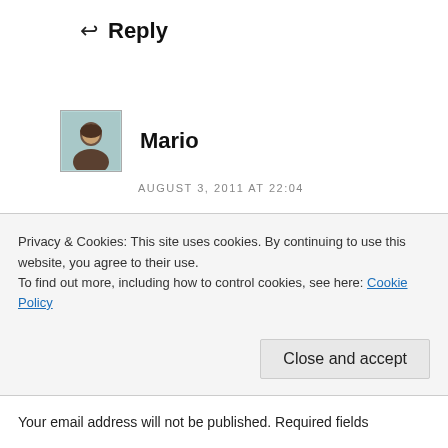↩ Reply
[Figure (photo): Avatar photo of commenter Mario — small portrait photo with teal/grey background, showing a person's face]
Mario
AUGUST 3, 2011 AT 22:04
I suppose that it's possible – if you can use a subdomain, another extension might be possible also.
But I haven't tried it out and didn't find anything in the docs for Feedburner/MyBrand.
Privacy & Cookies: This site uses cookies. By continuing to use this website, you agree to their use.
To find out more, including how to control cookies, see here: Cookie Policy
Close and accept
Your email address will not be published. Required fields